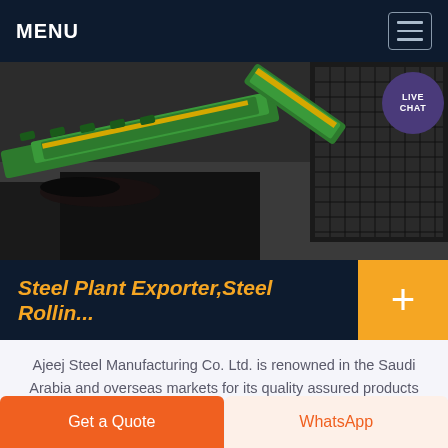MENU
[Figure (photo): Industrial steel plant machinery — green conveyor/track equipment operating over a pit or hopper, shot from above at an angle]
Steel Plant Exporter,Steel Rollin...
Ajeej Steel Manufacturing Co. Ltd. is renowned in the Saudi Arabia and overseas markets for its quality assured products and customer delight. Based in the capital city of Saudi Arabia Riyadh, ours is a highly customer centric organization, which is constantly engaged in extensive market research to
Get a Quote   WhatsApp